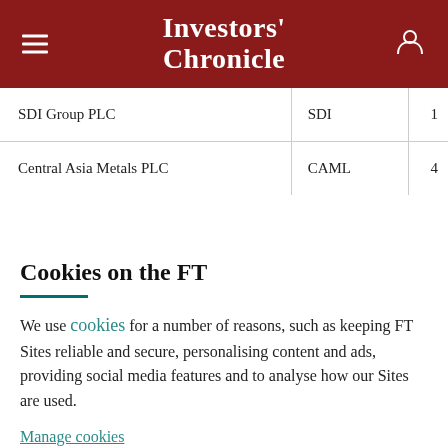Investors' Chronicle
| SDI Group PLC | SDI | 1 |
| Central Asia Metals PLC | CAML | 4 |
Cookies on the FT
We use cookies for a number of reasons, such as keeping FT Sites reliable and secure, personalising content and ads, providing social media features and to analyse how our Sites are used.
Manage cookies
Accept & continue